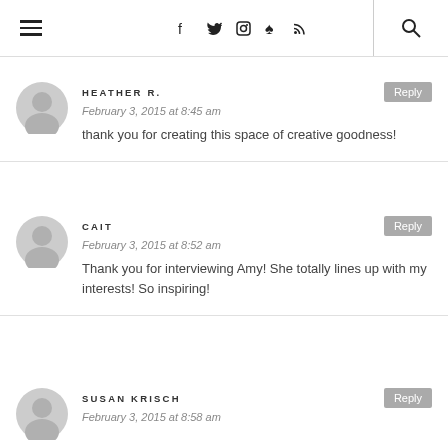Menu | Social icons (Facebook, Twitter, Instagram, Pinterest, RSS) | Search
HEATHER R.
February 3, 2015 at 8:45 am
thank you for creating this space of creative goodness!
CAIT
February 3, 2015 at 8:52 am
Thank you for interviewing Amy! She totally lines up with my interests! So inspiring!
SUSAN KRISCH
February 3, 2015 at 8:58 am